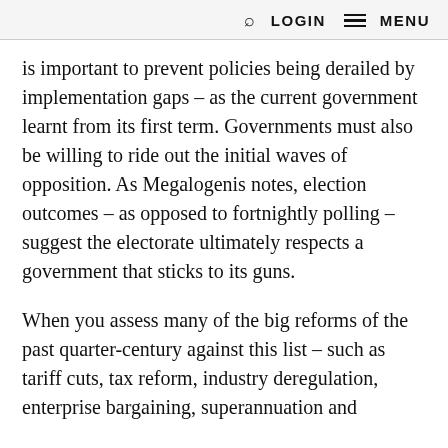🔍 LOGIN MENU ≡
is important to prevent policies being derailed by implementation gaps – as the current government learnt from its first term. Governments must also be willing to ride out the initial waves of opposition. As Megalogenis notes, election outcomes – as opposed to fortnightly polling – suggest the electorate ultimately respects a government that sticks to its guns.
When you assess many of the big reforms of the past quarter-century against this list – such as tariff cuts, tax reform, industry deregulation, enterprise bargaining, superannuation and